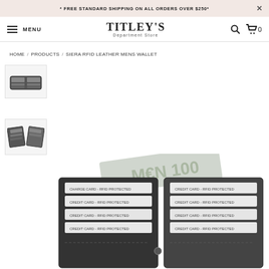* FREE STANDARD SHIPPING ON ALL ORDERS OVER $250*
TITLEY'S Department Store — MENU | Search | Cart 0
HOME / PRODUCTS / SIERA RFID LEATHER MENS WALLET
[Figure (photo): Thumbnail image of a black leather bifold wallet, open, showing card slots - top view]
[Figure (photo): Thumbnail image of a black leather bifold wallet open showing multiple card slots - angled view]
[Figure (photo): Main product photo of Siera RFID leather mens wallet open showing multiple card slots labeled CREDIT CARD - RFID PROTECTED, with banknote inserted]